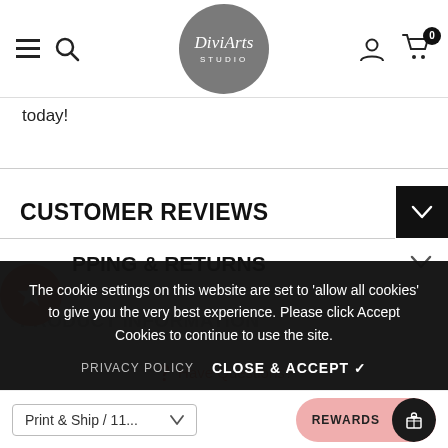DiviArts Studio navigation bar with hamburger menu, search icon, logo, user icon, and cart (0)
today!
CUSTOMER REVIEWS
PPING & RETURNS
PRODUCT INFORMATION
The cookie settings on this website are set to 'allow all cookies' to give you the very best experience. Please click Accept Cookies to continue to use the site.
PRIVACY POLICY   CLOSE & ACCEPT ✓
Have Questions?
Print & Ship / 11...
REWARDS